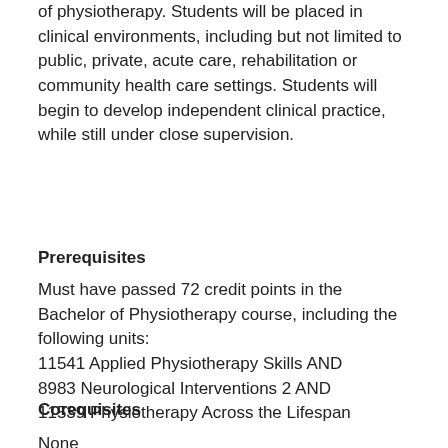of physiotherapy. Students will be placed in clinical environments, including but not limited to public, private, acute care, rehabilitation or community health care settings. Students will begin to develop independent clinical practice, while still under close supervision.
Prerequisites
Must have passed 72 credit points in the Bachelor of Physiotherapy course, including the following units:
11541 Applied Physiotherapy Skills AND
8983 Neurological Interventions 2 AND
11539 Physiotherapy Across the Lifespan
Corequisites
None